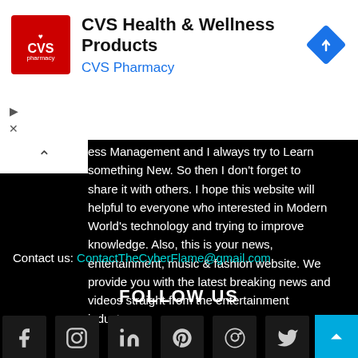[Figure (logo): CVS Health & Wellness Products advertisement banner with CVS Pharmacy logo (red square with heart and CVS pharmacy text), title 'CVS Health & Wellness Products', subtitle 'CVS Pharmacy' in blue, and a blue diamond navigation icon on the right]
ess Management and I always try to Learn something New. So then I don't forget to share it with others. I hope this website will helpful to everyone who interested in Modern World's technology and trying to improve knowledge. Also, this is your news, entertainment, music & fashion website. We provide you with the latest breaking news and videos straight from the entertainment industry.
Contact us: ContactTheCyberFlame@gmail.com
FOLLOW US
[Figure (infographic): Social media icon buttons: Facebook (f), Instagram, LinkedIn (in), Pinterest (p), Reddit, Twitter (bird icon), arranged in a row on dark background]